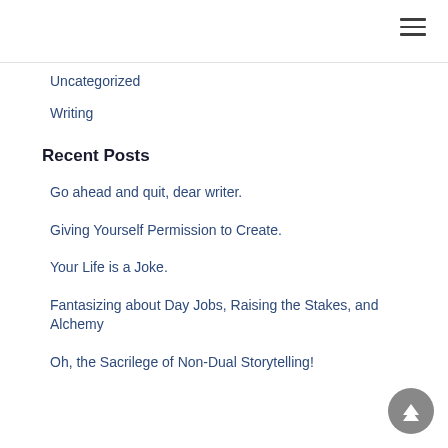Uncategorized
Writing
Recent Posts
Go ahead and quit, dear writer.
Giving Yourself Permission to Create.
Your Life is a Joke.
Fantasizing about Day Jobs, Raising the Stakes, and Alchemy
Oh, the Sacrilege of Non-Dual Storytelling!